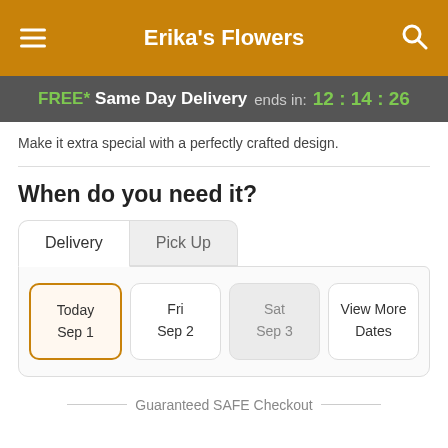Erika's Flowers
FREE* Same Day Delivery ends in: 12:14:26
Make it extra special with a perfectly crafted design.
When do you need it?
Delivery | Pick Up
Today Sep 1
Fri Sep 2
Sat Sep 3
View More Dates
Guaranteed SAFE Checkout